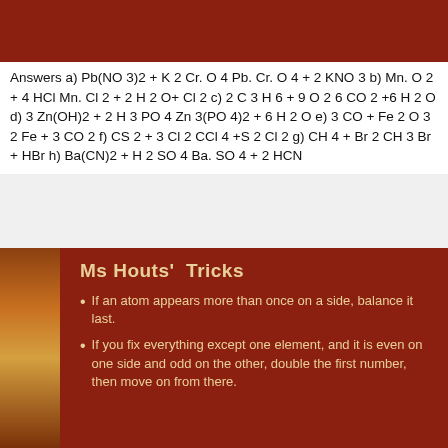[Figure (photo): Dark red/brown background image bar at top of slide]
Answers a) Pb(NO 3)2 + K 2 Cr. O 4 Pb. Cr. O 4 + 2 KNO 3 b) Mn. O 2 + 4 HCl Mn. Cl 2 + 2 H 2 O+ Cl 2 c) 2 C 3 H 6 + 9 O 2 6 CO 2 +6 H 2 O d) 3 Zn(OH)2 + 2 H 3 PO 4 Zn 3(PO 4)2 + 6 H 2 O e) 3 CO + Fe 2 O 3 2 Fe + 3 CO 2 f) CS 2 + 3 Cl 2 CCl 4 +S 2 Cl 2 g) CH 4 + Br 2 CH 3 Br + HBr h) Ba(CN)2 + H 2 SO 4 Ba. SO 4 + 2 HCN
Ms Houts'  Tricks
If an atom appears more than once on a side, balance it last.
If you fix everything except one element, and it is even on one side and odd on the other, double the first number, then move on from there.